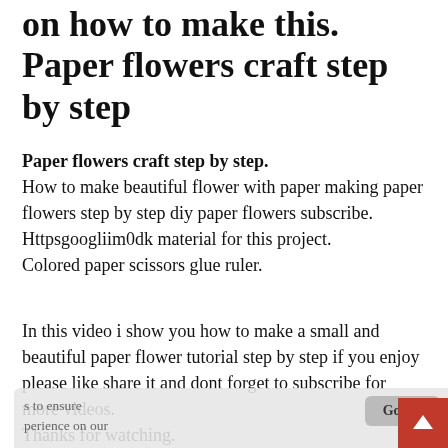on how to make this. Paper flowers craft step by step
Paper flowers craft step by step. How to make beautiful flower with paper making paper flowers step by step diy paper flowers subscribe. Httpsgoogliim0dk material for this project. Colored paper scissors glue ruler.
In this video i show you how to make a small and beautiful paper flower tutorial step by step if you enjoy please like share it and dont forget to subscribe for more videos. Thanks for watching. How to make beautiful flower with paper making paper flowers step by step diy paper flowers